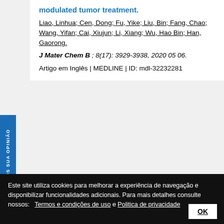modulated tumor treatment.
Liao, Linhua; Cen, Dong; Fu, Yike; Liu, Bin; Fang, Chao; Wang, Yifan; Cai, Xiujun; Li, Xiang; Wu, Hao Bin; Han, Gaorong.
J Mater Chem B ; 8(17): 3929-3938, 2020 05 06.
Artigo em Inglês | MEDLINE | ID: mdl-32232281
[Figure (other): Pagination navigation bar with arrows and page numbers 1-6, page 1 active/highlighted in blue]
Este site utiliza cookies para melhorar a experiência de navegação e disponibilizar funcionalidades adicionais. Para mais detalhes consulte nossos: Termos e condições de uso e Politica de privacidade